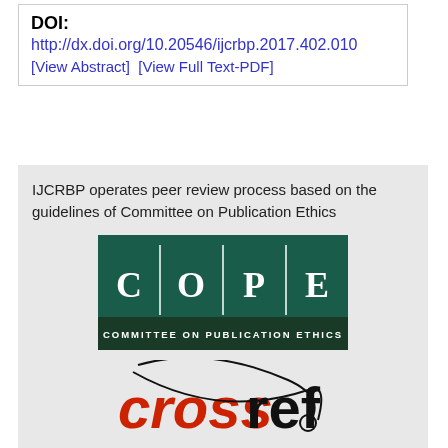DOI:
http://dx.doi.org/10.20546/ijcrbp.2017.402.010
[View Abstract]  [View Full Text-PDF]
IJCRBP operates peer review process based on the guidelines of Committee on Publication Ethics
[Figure (logo): COPE - Committee on Publication Ethics logo with dark green background]
[Figure (logo): Crossref logo with red 'cross' text and black 'ref' text]
[Figure (logo): National Academy of Agricultural Sciences (NAAS) feather logo]
National Academy of Agricultural Sciences
(NAAS) :